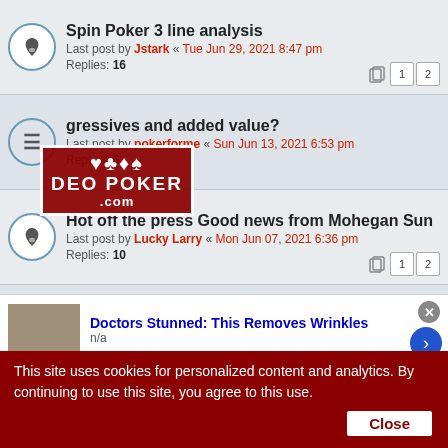Spin Poker 3 line analysis — Last post by Jstark « Tue Jun 29, 2021 8:47 pm — Replies: 16
Progressives and added value? — Last post by pokerforme « Sun Jun 13, 2021 6:53 pm — Replies: 6
Hot off the press Good news from Mohegan Sun — Last post by Lucky Larry « Mon Jun 07, 2021 6:36 pm — Replies: 10
I am drawing a mental blank — Last post by Tedlark « Fri Jun 04, 2021 5:48 pm — Replies: 37
Your Input: Which way to go? — Last post by Lucky Larry « Wed May 26, 2021 8:49 pm — Replies: 50
Chase a progressive Royal? and strategy.
[Figure (logo): DEO POKER .com logo with card suits watermark overlay]
Doctors Stunned: This Removes Wrinkles — n/a
This site uses cookies for personalized content and analytics. By continuing to use this site, you agree to this use. Close